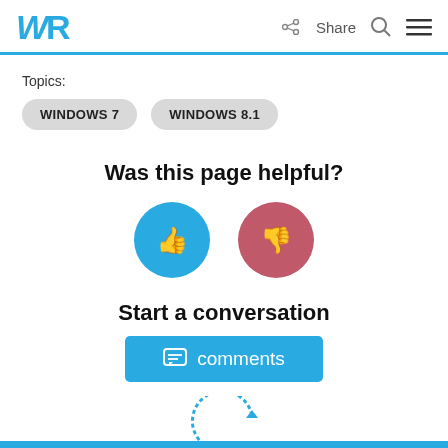WR  Share
Topics:
WINDOWS 7
WINDOWS 8.1
Was this page helpful?
[Figure (infographic): Blue thumbs-up button and red thumbs-down button for page feedback]
Start a conversation
[Figure (other): Blue comments button with comment icon and label 'comments']
[Figure (other): Partial circular loading/refresh icon in blue at bottom of page]